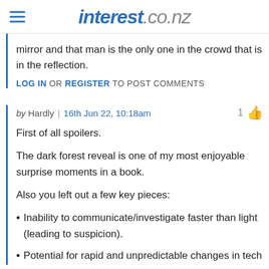interest.co.nz
mirror and that man is the only one in the crowd that is in the reflection.
LOG IN OR REGISTER TO POST COMMENTS
by Hardly | 16th Jun 22, 10:18am
First of all spoilers.
The dark forest reveal is one of my most enjoyable surprise moments in a book.
Also you left out a few key pieces:
Inability to communicate/investigate faster than light (leading to suspicion).
Potential for rapid and unpredictable changes in tech